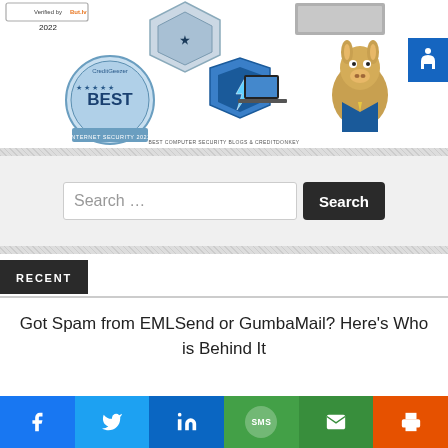[Figure (screenshot): Top area showing awards: a 2022 Verified by But.ly badge, a diamond/shield trophy icon, a gray product image, a CreditDonkey BEST badge circle, a security shield with laptop graphic, and a donkey mascot character. Text at bottom reads BEST COMPUTER SECURITY BLOGS & CREDITDONKEY.]
[Figure (screenshot): Accessibility icon button (wheelchair symbol) in a blue square on the right side.]
Search …
Search
RECENT
Got Spam from EMLSend or GumbaMail? Here's Who is Behind It
[Figure (infographic): Social sharing bar at bottom with icons for Facebook, Twitter, LinkedIn, SMS, Email, and Print.]